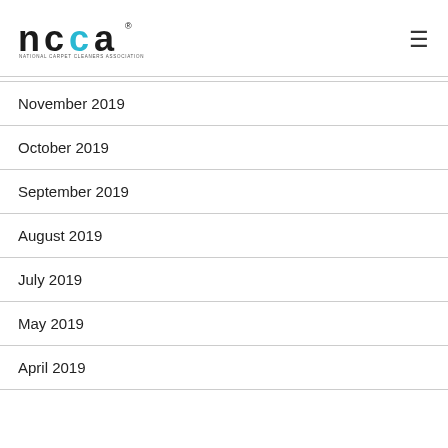NCCA - National Carpet Cleaners Association
November 2019
October 2019
September 2019
August 2019
July 2019
May 2019
April 2019